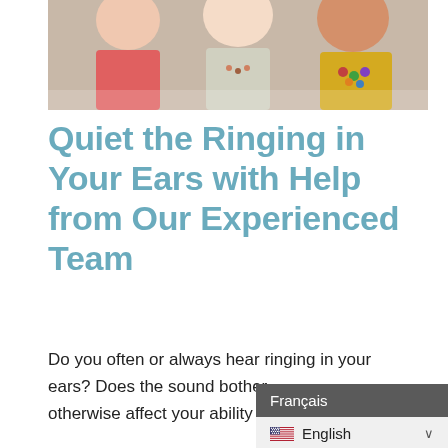[Figure (photo): Three women laughing and smiling together; one in pink top, one in white with beaded necklace, one in yellow top with colorful chunky necklace.]
Quiet the Ringing in Your Ears with Help from Our Experienced Team
Do you often or always hear ringing in your ears? Does the sound bother otherwise affect your ability to enjoy da